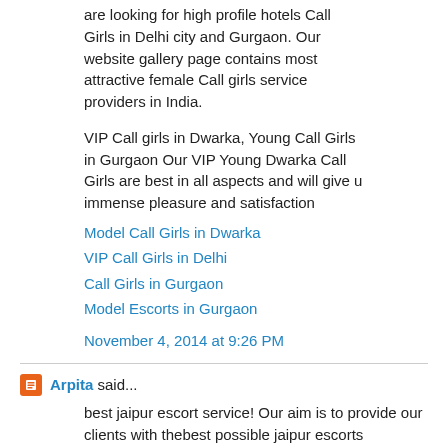are looking for high profile hotels Call Girls in Delhi city and Gurgaon. Our website gallery page contains most attractive female Call girls service providers in India.
VIP Call girls in Dwarka, Young Call Girls in Gurgaon Our VIP Young Dwarka Call Girls are best in all aspects and will give u immense pleasure and satisfaction
Model Call Girls in Dwarka
VIP Call Girls in Delhi
Call Girls in Gurgaon
Model Escorts in Gurgaon
November 4, 2014 at 9:26 PM
Arpita said...
best jaipur escort service! Our aim is to provide our clients with thebest possible jaipur escorts
service offered through Escort Girl Agency.....
Jaipur Escorts
Escorts In Jaipur